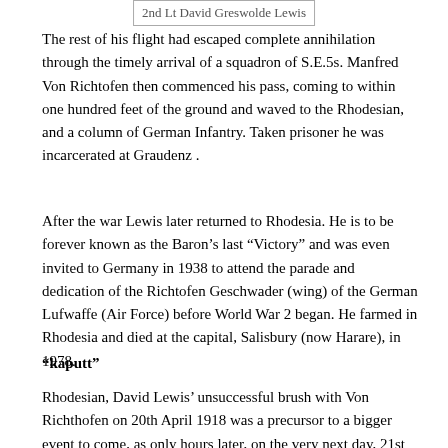2nd Lt David Greswolde Lewis
The rest of his flight had escaped complete annihilation through the timely arrival of a squadron of S.E.5s. Manfred Von Richtofen then commenced his pass, coming to within one hundred feet of the ground and waved to the Rhodesian, and a column of German Infantry. Taken prisoner he was incarcerated at Graudenz .
After the war Lewis later returned to Rhodesia. He is to be forever known as the Baron’s last “Victory” and was even invited to Germany in 1938 to attend the parade and dedication of the Richtofen Geschwader (wing) of the German Lufwaffe (Air Force) before World War 2 began. He farmed in Rhodesia and died at the capital, Salisbury (now Harare), in 1978.
“kaputt”
Rhodesian, David Lewis’ unsuccessful brush with Von Richthofen on 20th April 1918 was a precursor to a bigger event to come, as only hours later, on the very next day, 21st